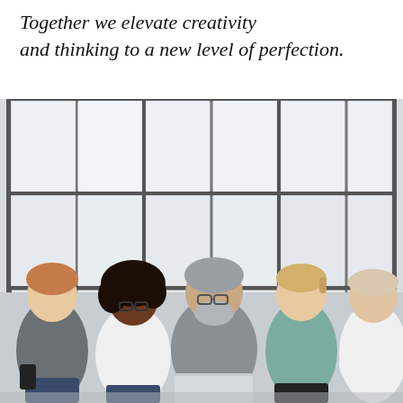Together we elevate creativity and thinking to a new level of perfection.
[Figure (photo): Five diverse colleagues seated together in front of large grid windows, looking at a laptop screen. Group includes a young red-haired man, a young Black woman with curly hair and glasses, an older man with grey hair and beard in a grey t-shirt holding the laptop, a young blonde woman in a teal turtleneck, and an older bald man in a white shirt.]